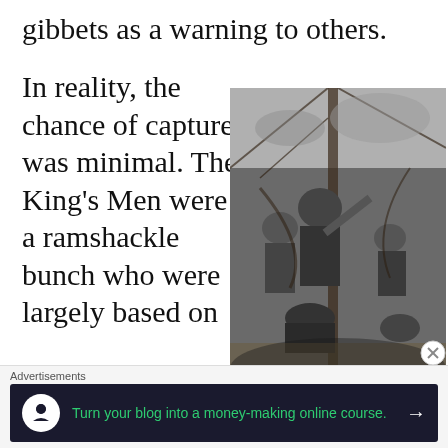gibbets as a warning to others.
In reality, the chance of capture was minimal. The King’s Men were a ramshackle bunch who were largely based on
[Figure (illustration): Black and white engraving/illustration depicting a chaotic naval battle or pirate scene on a ship deck, with figures fighting, falling, and climbing rigging.]
Advertisements
Turn your blog into a money-making online course.